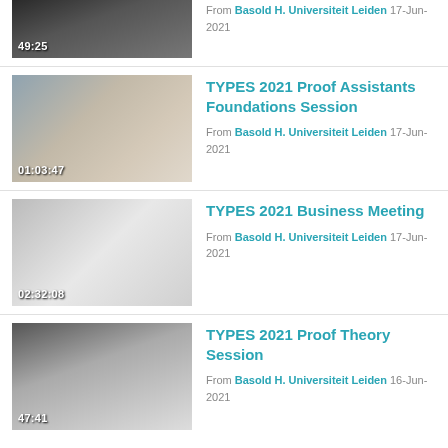[Figure (screenshot): Video thumbnail showing dark image with duration 49:25]
From Basold H. Universiteit Leiden 17-Jun-2021
[Figure (screenshot): Video thumbnail showing person with curly hair with duration 01:03:47]
TYPES 2021 Proof Assistants Foundations Session
From Basold H. Universiteit Leiden 17-Jun-2021
[Figure (screenshot): Video thumbnail showing grey gradient with duration 02:32:08]
TYPES 2021 Business Meeting
From Basold H. Universiteit Leiden 17-Jun-2021
[Figure (screenshot): Video thumbnail showing grey gradient with duration 47:41]
TYPES 2021 Proof Theory Session
From Basold H. Universiteit Leiden 16-Jun-2021